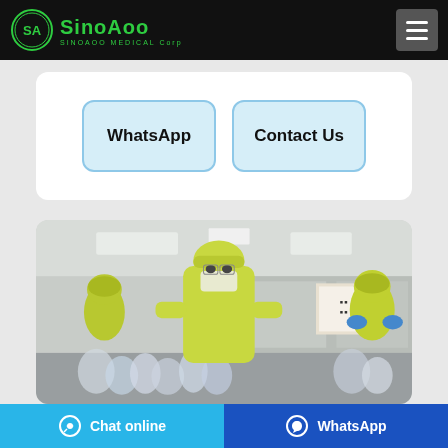SinoAoo SINOAOO MEDICAL Corp
WhatsApp
Contact Us
[Figure (photo): Workers in yellow protective gear and masks working in a clean room medical manufacturing facility, handling transparent bottles/containers on an assembly line]
Chat online   WhatsApp